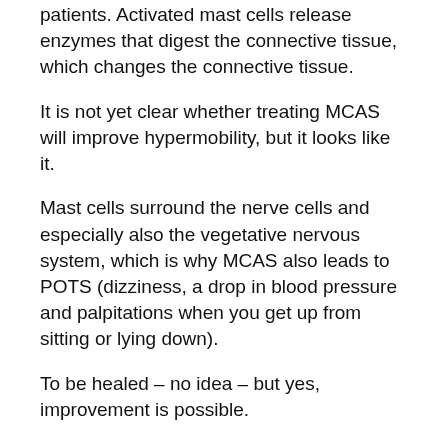patients. Activated mast cells release enzymes that digest the connective tissue, which changes the connective tissue.
It is not yet clear whether treating MCAS will improve hypermobility, but it looks like it.
Mast cells surround the nerve cells and especially also the vegetative nervous system, which is why MCAS also leads to POTS (dizziness, a drop in blood pressure and palpitations when you get up from sitting or lying down).
To be healed – no idea – but yes, improvement is possible.
Vagus treatments?
she says: I'm not sure if the vagus stimulation soothes the mast cells. But of course the MCAS